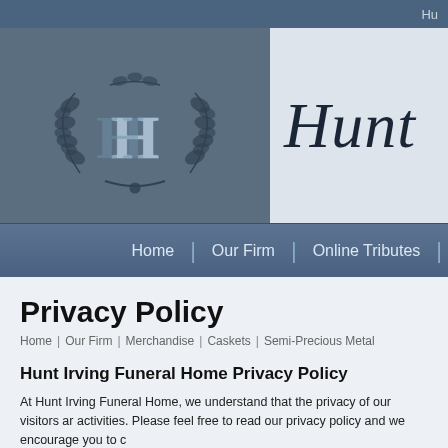Hu
[Figure (logo): Hunt Irving Funeral Home logo with HH monogram in laurel wreath on dark blue background]
Hunt (Irving Funeral Home name, partially cropped)
Home | Our Firm | Online Tributes |
Privacy Policy
Home | Our Firm | Merchandise | Caskets | Semi-Precious Metal
Hunt Irving Funeral Home Privacy Policy
At Hunt Irving Funeral Home, we understand that the privacy of our visitors ar... activities. Please feel free to read our privacy policy and we encourage you to c...
Contact Information:
If you feel that there is a need to contact our firm, please use one of the followi...
Mail: